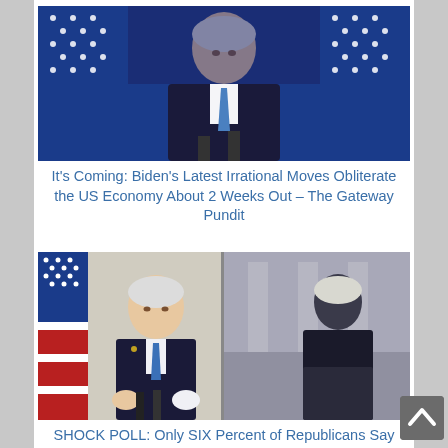[Figure (photo): Photo of a man in a dark suit and blue tie speaking at a podium, with blue curtains and American flags with stars in the background.]
It's Coming: Biden's Latest Irrational Moves Obliterate the US Economy About 2 Weeks Out – The Gateway Pundit
[Figure (photo): Split image: left side shows a man in dark suit and blue tie gesturing with hands at a podium with American flags; right side shows a man in dark suit at an outdoor podium.]
SHOCK POLL: Only SIX Percent of Republicans Say Biden's Win Was 'Definitely Legitimate' – MEDIAite